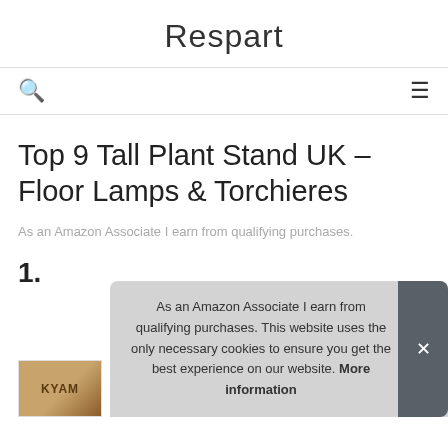Respart
Top 9 Tall Plant Stand UK – Floor Lamps & Torchieres
As an Amazon Associate I earn from qualifying purchases.
1.
As an Amazon Associate I earn from qualifying purchases. This website uses the only necessary cookies to ensure you get the best experience on our website. More information